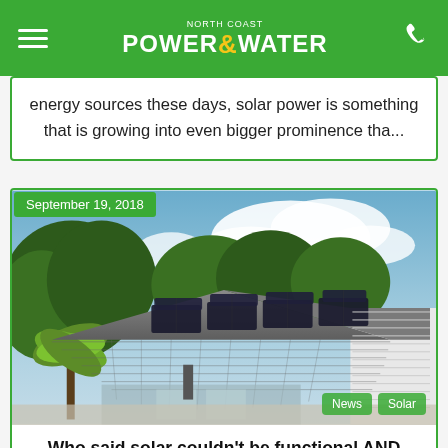NORTH COAST POWER & WATER
energy sources these days, solar power is something that is growing into even bigger prominence tha...
September 19, 2018
[Figure (photo): Photo of a suburban house with dark solar panels installed on a tiled roof, surrounded by trees and blue sky with clouds. Tags: News, Solar.]
Who said solar couldn't be functional AND stylish?